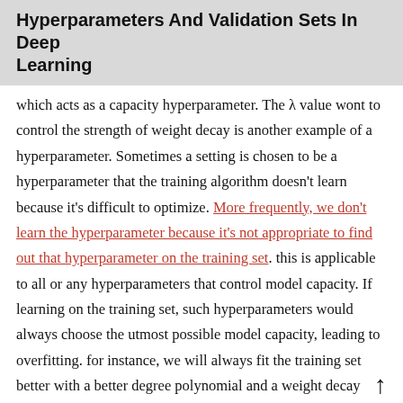Hyperparameters And Validation Sets In Deep Learning
which acts as a capacity hyperparameter. The λ value wont to control the strength of weight decay is another example of a hyperparameter. Sometimes a setting is chosen to be a hyperparameter that the training algorithm doesn't learn because it's difficult to optimize. More frequently, we don't learn the hyperparameter because it's not appropriate to find out that hyperparameter on the training set. this is applicable to all or any hyperparameters that control model capacity. If learning on the training set, such hyperparameters would always choose the utmost possible model capacity, leading to overfitting. for instance, we will always fit the training set better with a better degree polynomial and a weight decay setting of λ = 0 than we could with a lower degree polynomial and a positive weight